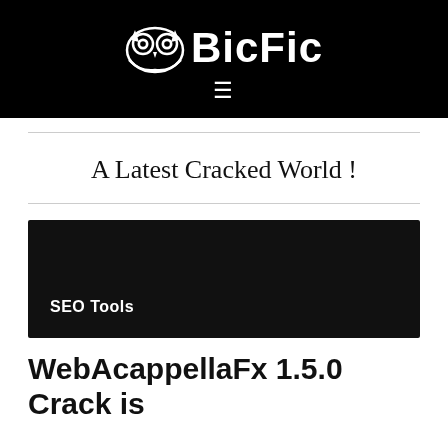BicFic
A Latest Cracked World !
[Figure (other): Dark banner image with text 'SEO Tools' in white bold font on black background]
WebAcappellaFx 1.5.0 Crack is